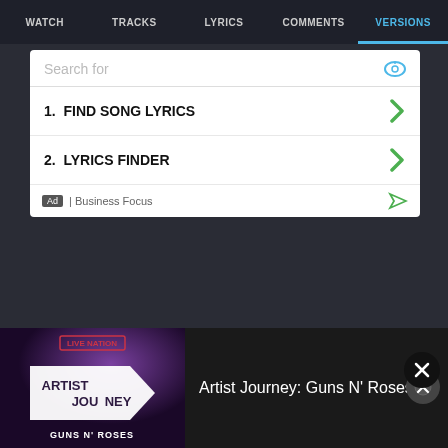WATCH | TRACKS | LYRICS | COMMENTS | VERSIONS
[Figure (screenshot): Advertisement box with search field showing 'Search for', two items: '1. FIND SONG LYRICS' and '2. LYRICS FINDER', footer with 'Ad | Business Focus']
[Figure (screenshot): Close X button circle]
ALL VIDEOS
[Figure (screenshot): Three video thumbnails in a row: Rock n Roll Nights album cover (5:33), BTO's Greatest album cover (5:20), and a music visualizer screenshot]
[Figure (screenshot): Bottom panel showing Artist Journey: Guns N' Roses promotional image with Live Nation branding]
Artist Journey: Guns N' Roses